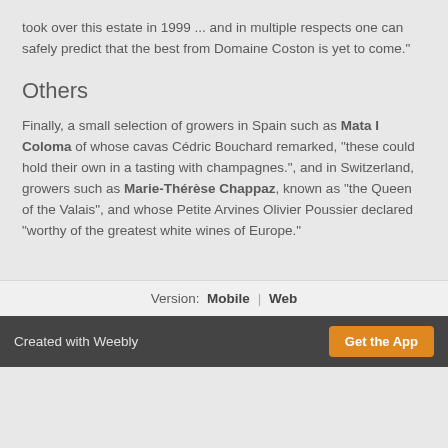took over this estate in 1999 ... and in multiple respects one can safely predict that the best from Domaine Coston is yet to come."
Others
Finally, a small selection of growers in Spain such as Mata I Coloma of whose cavas Cédric Bouchard remarked, "these could hold their own in a tasting with champagnes.", and in Switzerland, growers such as Marie-Thérèse Chappaz, known as "the Queen of the Valais", and whose Petite Arvines Olivier Poussier declared "worthy of the greatest white wines of Europe."
Version: Mobile | Web
Created with Weebly   Get the App